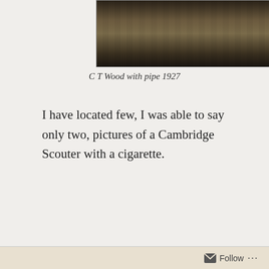[Figure (photo): Black and white photograph of people lying on grass outdoors, sepia-toned, historical photo from 1927]
C T Wood with pipe 1927
I have located few, I was able to say only two, pictures of a Cambridge Scouter with a cigarette.
[Figure (photo): Sepia-toned historical photograph of three men standing in front of a building with an arched doorway, one wearing glasses and possibly smoking]
Follow